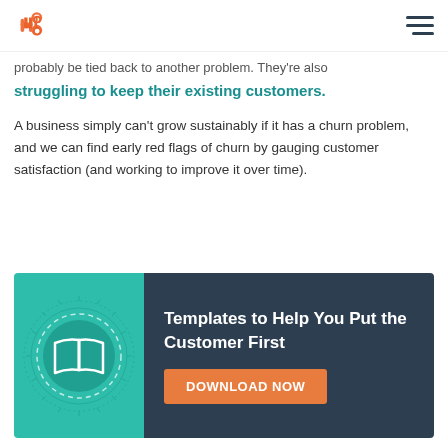HubSpot logo and navigation menu
probably be tied back to another problem. They're also struggling to keep their existing customers.
A business simply can't grow sustainably if it has a churn problem, and we can find early red flags of churn by gauging customer satisfaction (and working to improve it over time).
[Figure (infographic): Banner advertisement: teal left panel with open book icon surrounded by dashed circular pattern, dark navy right panel with text 'Templates to Help You Put the Customer First' and an orange 'DOWNLOAD NOW' button.]